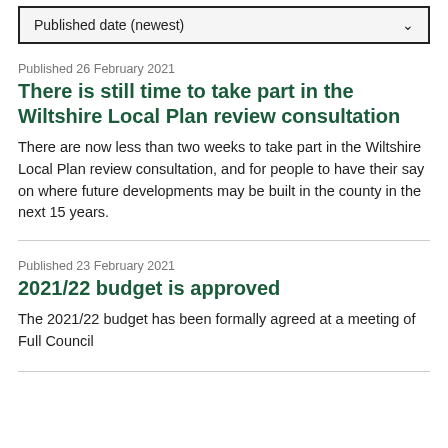Published date (newest)
Published 26 February 2021
There is still time to take part in the Wiltshire Local Plan review consultation
There are now less than two weeks to take part in the Wiltshire Local Plan review consultation, and for people to have their say on where future developments may be built in the county in the next 15 years.
Published 23 February 2021
2021/22 budget is approved
The 2021/22 budget has been formally agreed at a meeting of Full Council